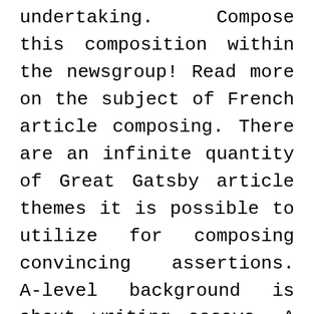undertaking. Compose this composition within the newsgroup! Read more on the subject of French article composing. There are an infinite quantity of Great Gatsby article themes it is possible to utilize for composing convincing assertions. A-level background is about writing essays. A great persuasive article opening. Standard issues within this article. Essay writing can actually be the. Writing Frankenstein composition becomes a nightmare for these pupils as they are not capable enough to handle the challenges of essay writing specially the thesis assertion.